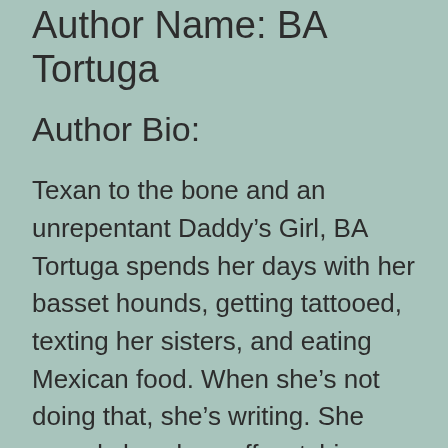Author Name: BA Tortuga
Author Bio:
Texan to the bone and an unrepentant Daddy’s Girl, BA Tortuga spends her days with her basset hounds, getting tattooed, texting her sisters, and eating Mexican food. When she’s not doing that, she’s writing. She spends her days off watching rodeo, knitting and surfing porn sites in the name of research. BA’s personal saviors include her wife (still amazing to say that), Julia Talbot, her best friend, Sean Michael, and coffee. Lots of coffee. Really